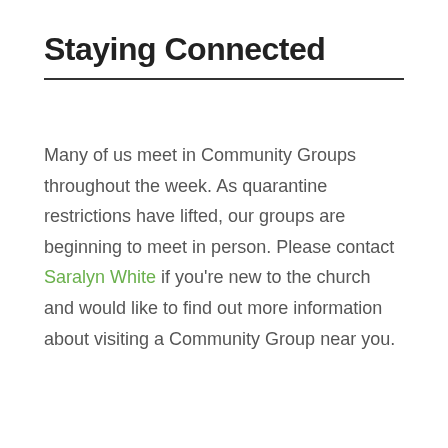Staying Connected
Many of us meet in Community Groups throughout the week. As quarantine restrictions have lifted, our groups are beginning to meet in person. Please contact Saralyn White if you're new to the church and would like to find out more information about visiting a Community Group near you.